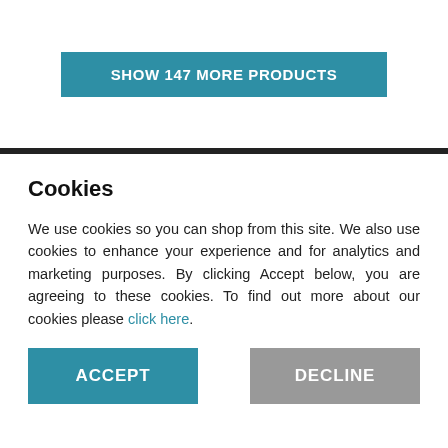SHOW 147 MORE PRODUCTS
Cookies
We use cookies so you can shop from this site. We also use cookies to enhance your experience and for analytics and marketing purposes. By clicking Accept below, you are agreeing to these cookies. To find out more about our cookies please click here.
ACCEPT
DECLINE